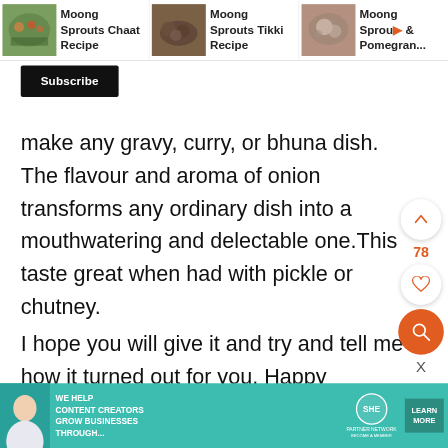[Figure (screenshot): Website screenshot showing recipe links at top: Moong Sprouts Chaat Recipe, Moong Sprouts Tikki Recipe, Moong Sprouts & Pomegranate (partially visible)]
Subscribe
make any gravy, curry, or bhuna dish. The flavour and aroma of onion transforms any ordinary dish into a mouthwatering and delectable one.This taste great when had with pickle or chutney.
I hope you will give it and try and tell me how it turned out for you. Happy Weekend Everyone.
[Figure (screenshot): SHE Media partner network advertisement banner at the bottom: 'We help content creators grow businesses through...' with Learn More button]